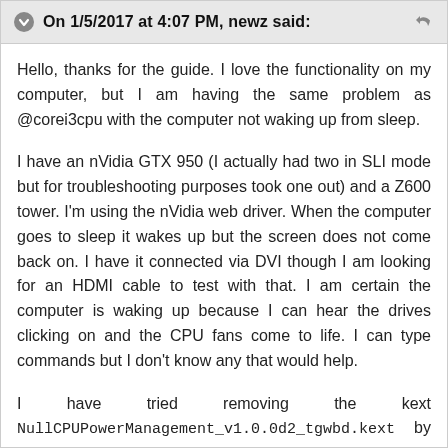On 1/5/2017 at 4:07 PM, newz said:
Hello, thanks for the guide. I love the functionality on my computer, but I am having the same problem as @corei3cpu with the computer not waking up from sleep.
I have an nVidia GTX 950 (I actually had two in SLI mode but for troubleshooting purposes took one out) and a Z600 tower. I'm using the nVidia web driver. When the computer goes to sleep it wakes up but the screen does not come back on. I have it connected via DVI though I am looking for an HDMI cable to test with that. I am certain the computer is waking up because I can hear the drives clicking on and the CPU fans come to life. I can type commands but I don't know any that would help.
I have tried removing the kext NullCPUPowerManagement_v1.0.0d2_tgwbd.kext by simply removing from /EFI/CLOVER/kexts/10.12 however that didn't seem